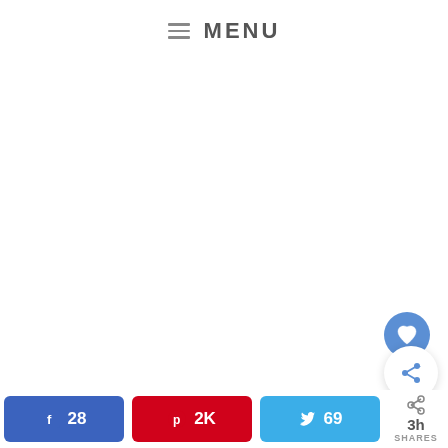≡ MENU
[Figure (other): Heart/favorite button (blue circle with white heart icon) in bottom right area]
[Figure (other): Share popup button (white circle with share icon and plus sign) overlaying bottom right]
Facebook 28 | Pinterest 2K | Twitter 69 | 3h SHAres